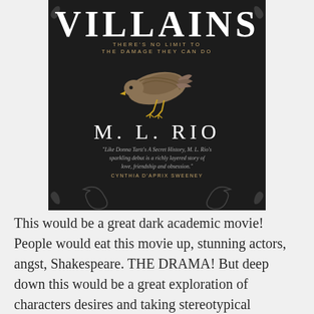[Figure (illustration): Book cover for 'If We Were Villains' by M.L. Rio. Dark background with large white 'VILLAINS' title text at top, gold subtitle 'THERE'S NO LIMIT TO THE DAMAGE THEY CAN DO', a dead bird image in the center, author name 'M. L. RIO' in large white serif text, and an italic blurb quote from Cynthia D'Aprix Sweeney comparing it to Donna Tartt's A Secret History.]
This would be a great dark academic movie! People would eat this movie up, stunning actors, angst, Shakespeare. THE DRAMA! But deep down this would be a great exploration of characters desires and taking stereotypical characters which they are in